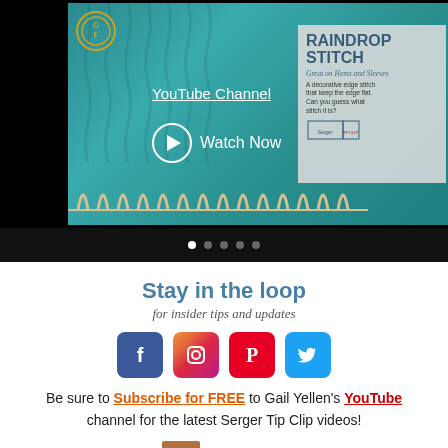[Figure (screenshot): Video thumbnail showing knitting/serger stitch content. Shows a teal knit fabric with decorative edge stitching. Overlay shows 'YouTube Channel' text and 'Watch Now' with play button. An info card shows 'RAINDROP STITCH - Great on Hems and Sleeves - A decorative edge stitch that keeps the edge flat. Can you guess what stitch it is?' Navigation dots shown below. Gold GP logo in top left.]
Stay in the loop
for insider tips and updates
[Figure (infographic): Row of four social media icons: Facebook (blue), Instagram (gradient), Pinterest (red), Twitter (blue)]
Be sure to Subscribe for FREE to Gail Yellen's YouTube channel for the latest Serger Tip Clip videos!
Gail Yellen